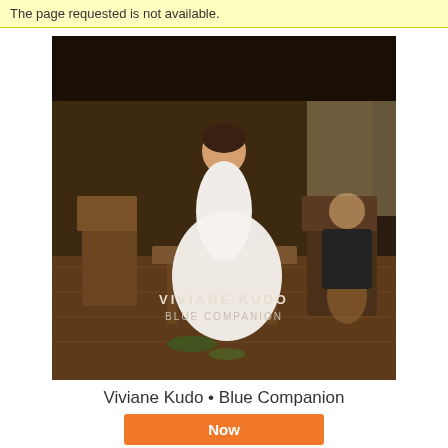The page requested is not available.
[Figure (photo): Album cover for Viviane Kudo - Blue Companion. A woman in a white wedding dress sits on a table, with a bouquet of green flowers scattered on the floor. A man in a dark suit sits in the background holding a guitar. The setting is a dark wood-paneled room. Text overlay reads 'VIVIANE KUDO BLUE COMPANION'.]
Viviane Kudo • Blue Companion
Now